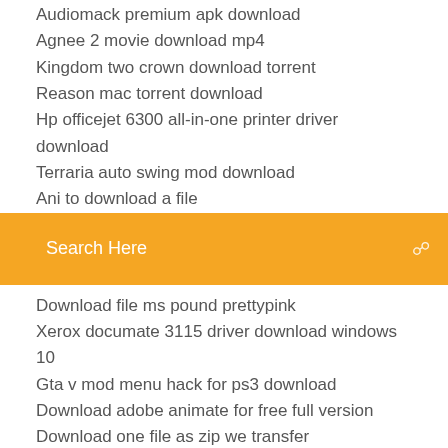Audiomack premium apk download
Agnee 2 movie download mp4
Kingdom two crown download torrent
Reason mac torrent download
Hp officejet 6300 all-in-one printer driver download
Terraria auto swing mod download
Ani to download a file
[Figure (screenshot): Orange search bar with 'Search Here' placeholder text and a search icon on the right]
Download file ms pound prettypink
Xerox documate 3115 driver download windows 10
Gta v mod menu hack for ps3 download
Download adobe animate for free full version
Download one file as zip we transfer
Resid saz jaali download apk
The power of vision myles munroe pdf download
Cant download graphics drivers without activating windows key
Download derp cookie skin for minecraft